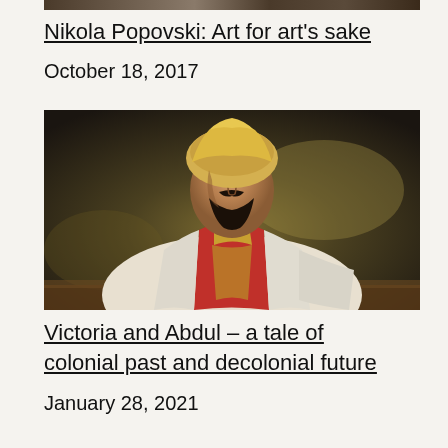[Figure (photo): Partial view of a cropped image at the top of the page, showing dark tones, appears to be a fragment of an artwork or photograph]
Nikola Popovski: Art for art's sake
October 18, 2017
[Figure (photo): Oil painting portrait of a young South Asian man with a beard, wearing a white robe with red and gold decorative elements and a turban, looking downward]
Victoria and Abdul – a tale of colonial past and decolonial future
January 28, 2021